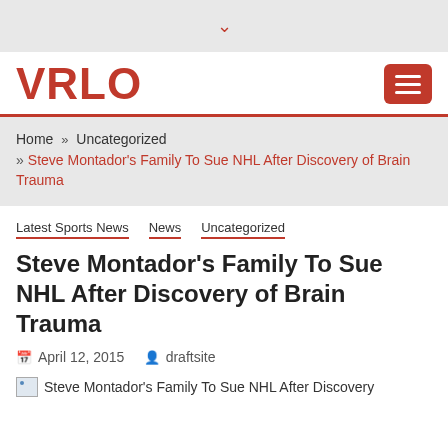▾
VRLO
Home » Uncategorized » Steve Montador's Family To Sue NHL After Discovery of Brain Trauma
Latest Sports News  News  Uncategorized
Steve Montador's Family To Sue NHL After Discovery of Brain Trauma
April 12, 2015   draftsite
[Figure (photo): Broken image placeholder for Steve Montador's Family To Sue NHL After Discovery article]